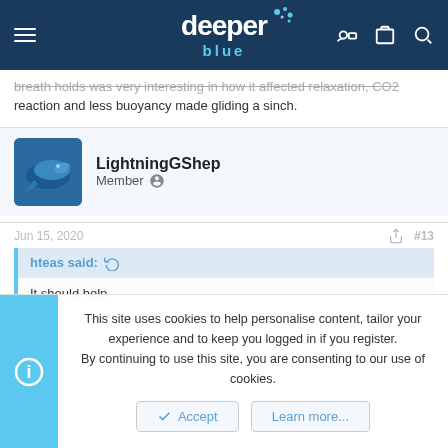deeper blue — navigation header
breath holds was very interesting in how it affected relaxation, CO2 reaction and less buoyancy made gliding a sinch.
LightningGShep
Member
Jun 15, 2020   #13
hteas said:
It should help
This site uses cookies to help personalise content, tailor your experience and to keep you logged in if you register.
By continuing to use this site, you are consenting to our use of cookies.
Accept   Learn more...